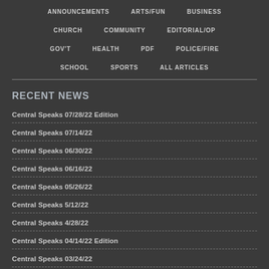ANNOUNCEMENTS  ARTS/FUN  BUSINESS
CHURCH
COMMUNITY
EDITORIAL/OP
GOV'T
HEALTH
PDF
POLICE/FIRE
SCHOOL
SPORTS
ALL ARTICLES
RECENT NEWS
Central Speaks 07/28/22 Edition
Central Speaks 07/14/22
Central Speaks 06/30/22
Central Speaks 06/16/22
Central Speaks 05/26/22
Central Speaks 5/12/22
Central Speaks 4/28/22
Central Speaks 04/14/22 Edition
Central Speaks 03/24/22
Central Speaks 02/24/2022